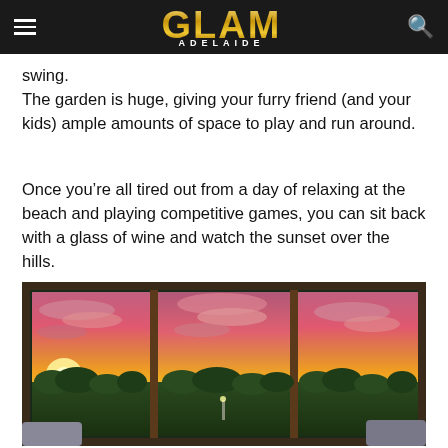GLAM ADELAIDE
swing.
The garden is huge, giving your furry friend (and your kids) ample amounts of space to play and run around.
Once you're all tired out from a day of relaxing at the beach and playing competitive games, you can sit back with a glass of wine and watch the sunset over the hills.
[Figure (photo): Interior view looking through large sliding glass windows framed in dark wood, showing a dramatic sunset sky with vivid pink, red and orange clouds over rolling green hills and trees, with indoor furniture visible in the foreground.]